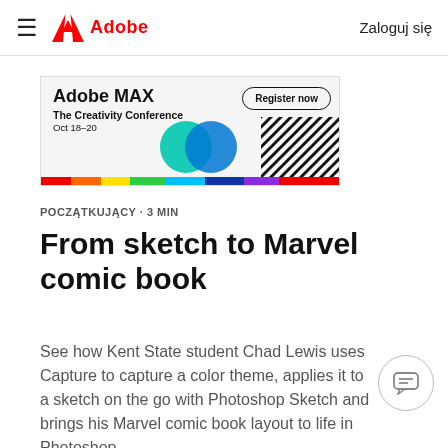Adobe — Zaloguj się
[Figure (illustration): Adobe MAX advertisement banner: 'Adobe MAX The Creativity Conference Oct 18–20' with 'Register now' button, colorful circles and diagonal stripe decoration, rainbow bottom bar]
POCZĄTKUJĄCY · 3 MIN
From sketch to Marvel comic book
See how Kent State student Chad Lewis uses Capture to capture a color theme, applies it to a sketch on the go with Photoshop Sketch and brings his Marvel comic book layout to life in Photoshop.